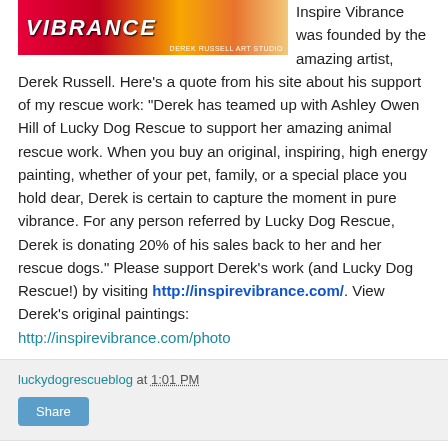[Figure (photo): Inspire Vibrance banner image with colorful text and Derek Russell Art Studio label]
Inspire Vibrance was founded by the amazing artist, Derek Russell. Here's a quote from his site about his support of my rescue work: “Derek has teamed up with Ashley Owen Hill of Lucky Dog Rescue to support her amazing animal rescue work. When you buy an original, inspiring, high energy painting, whether of your pet, family, or a special place you hold dear, Derek is certain to capture the moment in pure vibrance. For any person referred by Lucky Dog Rescue, Derek is donating 20% of his sales back to her and her rescue dogs.” Please support Derek’s work (and Lucky Dog Rescue!) by visiting http://inspirevibrance.com/. View Derek’s original paintings: http://inspirevibrance.com/photo
luckydogrescueblog at 1:01 PM
Share
4 comments:
Unknown August 12, 2011 at 3:37 PM